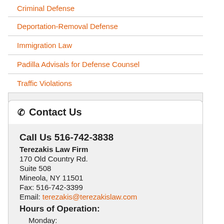Criminal Defense
Deportation-Removal Defense
Immigration Law
Padilla Advisals for Defense Counsel
Traffic Violations
Contact Us
Call Us 516-742-3838
Terezakis Law Firm
170 Old Country Rd.
Suite 508
Mineola, NY 11501
Fax: 516-742-3399
Email: terezakis@terezakislaw.com
Hours of Operation:
Monday:
9am-6pm